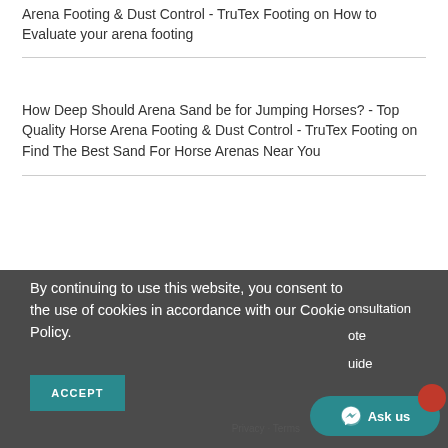Arena Footing & Dust Control - TruTex Footing on How to Evaluate your arena footing
How Deep Should Arena Sand be for Jumping Horses? - Top Quality Horse Arena Footing & Dust Control - TruTex Footing on Find The Best Sand For Horse Arenas Near You
By continuing to use this website, you consent to the use of cookies in accordance with our Cookie Policy.
ACCEPT
onsultation
ote
uide
Ask us
Privacy · Terms